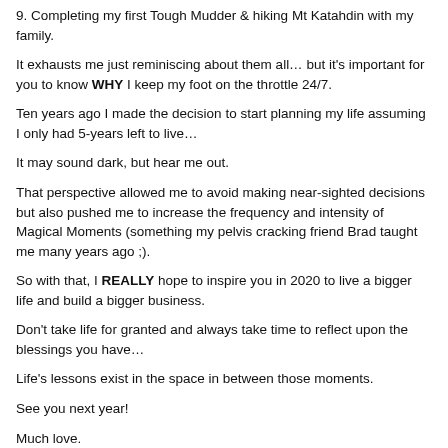9. Completing my first Tough Mudder & hiking Mt Katahdin with my family.
It exhausts me just reminiscing about them all… but it's important for you to know WHY I keep my foot on the throttle 24/7.
Ten years ago I made the decision to start planning my life assuming I only had 5-years left to live…
It may sound dark, but hear me out.
That perspective allowed me to avoid making near-sighted decisions but also pushed me to increase the frequency and intensity of Magical Moments (something my pelvis cracking friend Brad taught me many years ago ;).
So with that, I REALLY hope to inspire you in 2020 to live a bigger life and build a bigger business.
Don't take life for granted and always take time to reflect upon the blessings you have…
Life's lessons exist in the space in between those moments.
See you next year!
Much love.